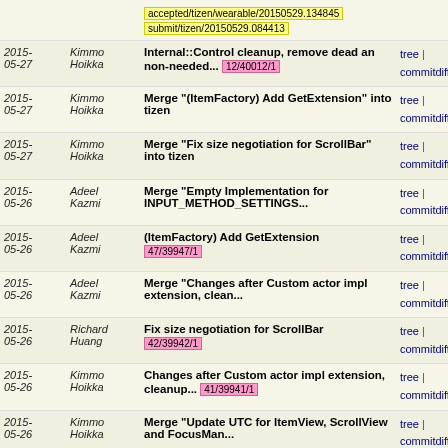| Date | Author | Commit Message | Links |
| --- | --- | --- | --- |
| 2015-05-27 | Kimmo Hoikka | Internal::Control cleanup, remove dead an non-needed... 12/40012/1 | tree | commitdiff |
| 2015-05-27 | Kimmo Hoikka | Merge "(ItemFactory) Add GetExtension" into tizen | tree | commitdiff |
| 2015-05-27 | Kimmo Hoikka | Merge "Fix size negotiation for ScrollBar" into tizen | tree | commitdiff |
| 2015-05-26 | Adeel Kazmi | Merge "Empty Implementation for INPUT_METHOD_SETTINGS... | tree | commitdiff |
| 2015-05-26 | Adeel Kazmi | (ItemFactory) Add GetExtension 47/39947/1 | tree | commitdiff |
| 2015-05-26 | Adeel Kazmi | Merge "Changes after Custom actor impl extension, clean... | tree | commitdiff |
| 2015-05-26 | Richard Huang | Fix size negotiation for ScrollBar 42/39942/1 | tree | commitdiff |
| 2015-05-26 | Kimmo Hoikka | Changes after Custom actor impl extension, cleanup... 41/39941/1 | tree | commitdiff |
| 2015-05-26 | Kimmo Hoikka | Merge "Update UTC for ItemView, ScrollView and FocusMan... | tree | commitdiff |
| 2015-05-26 | Paul Wisbey | Merge "Move TextSelectionPopup from public to devel... | tree | commitdiff |
| 2015-05-26 | Agnelo Vaz | Move TextSelectionPopup from public to devel 25/39925/3 | tree | commitdiff |
| 2015-05-26 | Agnelo Vaz | Empty Implementation for INPUT_METHOD_SETTINGS property | tree | commitdiff |